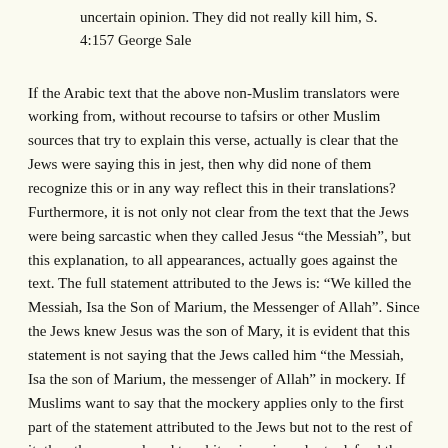uncertain opinion. They did not really kill him, S. 4:157 George Sale
If the Arabic text that the above non-Muslim translators were working from, without recourse to tafsirs or other Muslim sources that try to explain this verse, actually is clear that the Jews were saying this in jest, then why did none of them recognize this or in any way reflect this in their translations? Furthermore, it is not only not clear from the text that the Jews were being sarcastic when they called Jesus “the Messiah”, but this explanation, to all appearances, actually goes against the text. The full statement attributed to the Jews is: “We killed the Messiah, Isa the Son of Marium, the Messenger of Allah”. Since the Jews knew Jesus was the son of Mary, it is evident that this statement is not saying that the Jews called him “the Messiah, Isa the son of Marium, the messenger of Allah” in mockery. If Muslims want to say that the mockery applies only to the first part of the statement attributed to the Jews but not to the rest of it, then they are reduced to arbitrariness in order to defend the Qur’an, for there is no textual justification for using this excuse to explain the first part of the Jews’ statement and then stopping short of saying the whole statement was one of mockery. If Muslims can apply the “mockery” explanation to explain one part of the verse, it may just